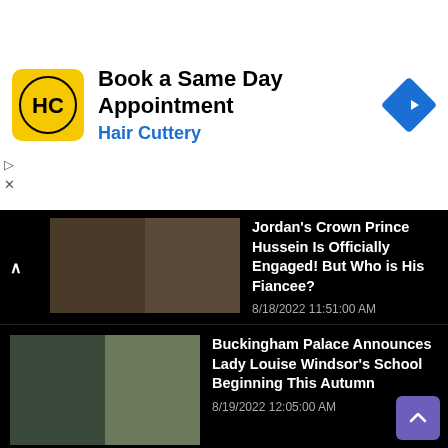[Figure (infographic): Hair Cuttery advertisement banner: logo (HC in black circle on yellow background), 'Book a Same Day Appointment' text, 'Hair Cuttery' subtitle in blue, blue diamond navigation icon]
Jordan's Crown Prince Hussein Is Officially Engaged! But Who is His Fiancee? 8/18/2022 11:51:00 AM
Buckingham Palace Announces Lady Louise Windsor's School Beginning This Autumn 8/19/2022 12:05:00 AM
Victoria, Duchess of Kent, Mother of the Queen. And her famous Royal Feud with King William IV 8/18/2022 04:24:00 PM
Summer Look Inspiration From Queen Letizia and Duchess of Cambridge This 2022 8/17/2022 11:38:00 PM
Six Royal Teens Who Captured Our Attention With Their Stylish Fashion This Summer